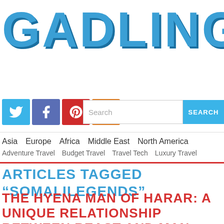GADLING
[Figure (logo): Gadling website logo in large bold blue letters with shadow effect]
[Figure (infographic): Social media icons: Twitter (blue bird), Facebook (white f on purple), Pinterest (white P on red), RSS feed (white signal icon on orange)]
Search  SEARCH
Asia  Europe  Africa  Middle East  North America
Adventure Travel  Budget Travel  Travel Tech  Luxury Travel
ARTICLES TAGGED "SOMALILEGENDS"
THE HYENA MAN OF HARAR: A UNIQUE RELATIONSHIP BETWEEN BEAST AND MAN